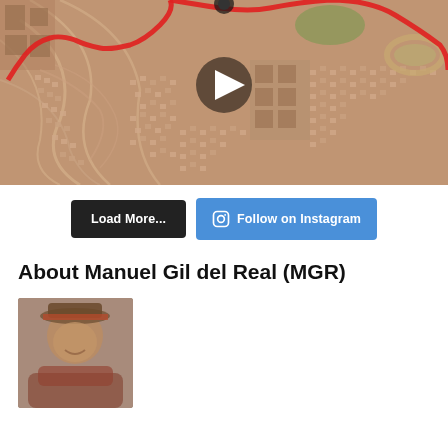[Figure (screenshot): Aerial satellite map view showing a suburban neighborhood with curved streets and a red route line overlaid. A white play button triangle is centered on the image, suggesting it is a video thumbnail.]
Load More...
Follow on Instagram
About Manuel Gil del Real (MGR)
[Figure (photo): Partial photo of a person wearing a hat, smiling, shown from the shoulders up. The image is cropped at the bottom of the page.]